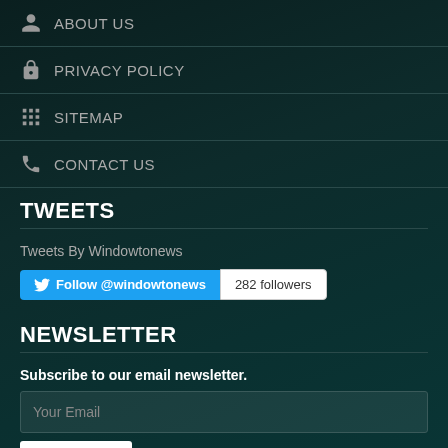ABOUT US
PRIVACY POLICY
SITEMAP
CONTACT US
TWEETS
Tweets By Windowtonews
Follow @windowtonews   282 followers
NEWSLETTER
Subscribe to our email newsletter.
Your Email
Subscribe